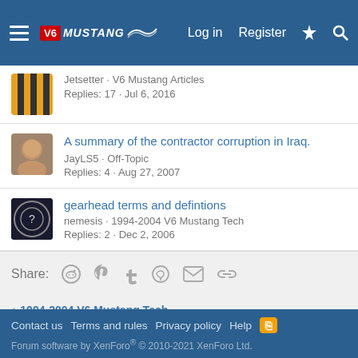V6 Mustang — Log in | Register
Jetsetter · V6 Mustang Articles · Replies: 17 · Jul 6, 2016
A summary of the contractor corruption in Iraq. · JayLS5 · Off-Topic · Replies: 4 · Aug 27, 2007
gearhead terms and defintions · nemesis · 1994-2004 V6 Mustang Tech · Replies: 2 · Dec 2, 2006
Share:
< 1994-2004 V6 Mustang Tech
Contact us   Terms and rules   Privacy policy   Help   Forum software by XenForo® © 2010-2021 XenForo Ltd.